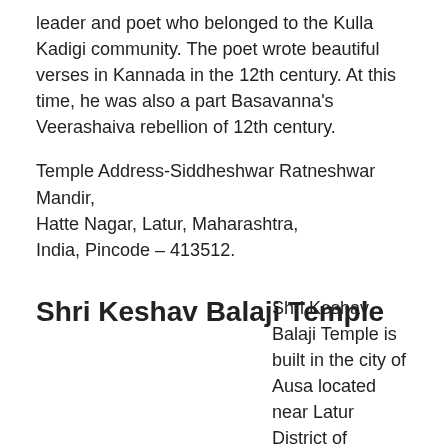leader and poet who belonged to the Kulla Kadigi community. The poet wrote beautiful verses in Kannada in the 12th century. At this time, he was also a part Basavanna's Veerashaiva rebellion of 12th century.
Temple Address-Siddheshwar Ratneshwar Mandir, Hatte Nagar, Latur, Maharashtra, India, Pincode – 413512.
Shri Keshav Balaji Temple
Shri Keshav Balaji Temple is built in the city of Ausa located near Latur District of